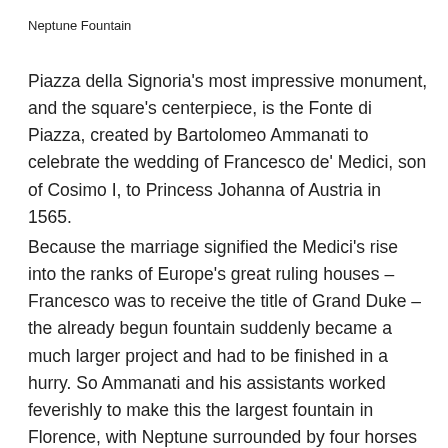Neptune Fountain
Piazza della Signoria's most impressive monument, and the square's centerpiece, is the Fonte di Piazza, created by Bartolomeo Ammanati to celebrate the wedding of Francesco de' Medici, son of Cosimo I, to Princess Johanna of Austria in 1565.
Because the marriage signified the Medici's rise into the ranks of Europe's great ruling houses – Francesco was to receive the title of Grand Duke – the already begun fountain suddenly became a much larger project and had to be finished in a hurry. So Ammanati and his assistants worked feverishly to make this the largest fountain in Florence, with Neptune surrounded by four horses and three tritons